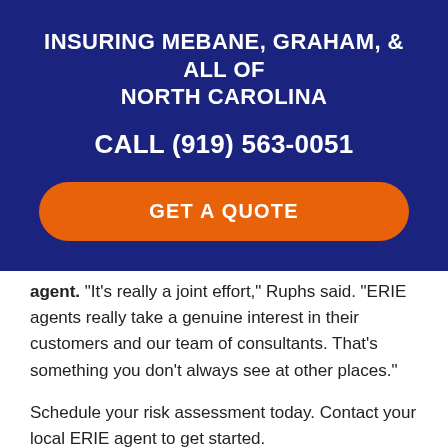INSURING MEBANE, GRAHAM, & ALL OF NORTH CAROLINA
CALL (919) 563-0051
[Figure (other): Orange rounded button labeled GET A QUOTE]
agent. "It's really a joint effort," Ruphs said. "ERIE agents really take a genuine interest in their customers and our team of consultants. That's something you don't always see at other places."
Schedule your risk assessment today. Contact your local ERIE agent to get started.